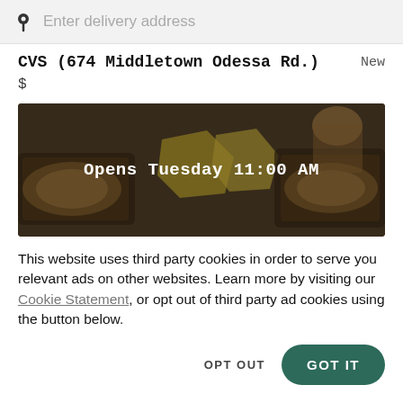Enter delivery address
CVS (674 Middletown Odessa Rd.)    New
$
[Figure (photo): Overhead photo of food trays and snacks on a table, darkened with overlay text reading 'Opens Tuesday 11:00 AM']
This website uses third party cookies in order to serve you relevant ads on other websites. Learn more by visiting our Cookie Statement, or opt out of third party ad cookies using the button below.
OPT OUT    GOT IT